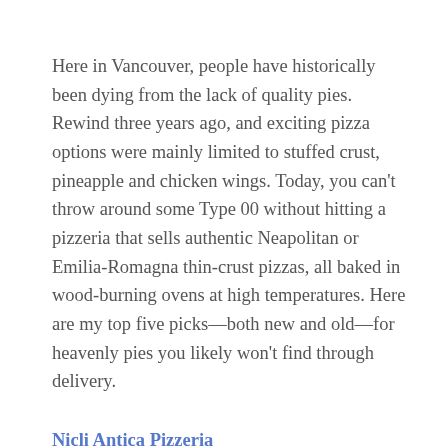Here in Vancouver, people have historically been dying from the lack of quality pies. Rewind three years ago, and exciting pizza options were mainly limited to stuffed crust, pineapple and chicken wings. Today, you can't throw around some Type 00 without hitting a pizzeria that sells authentic Neapolitan or Emilia-Romagna thin-crust pizzas, all baked in wood-burning ovens at high temperatures. Here are my top five picks—both new and old—for heavenly pies you likely won't find through delivery.
Nicli Antica Pizzeria
It's a clean, bright room with a deep, dark oven that